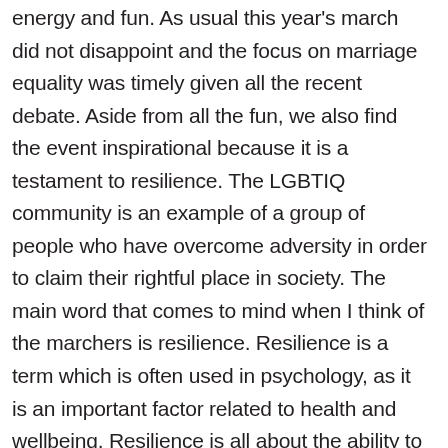energy and fun. As usual this year's march did not disappoint and the focus on marriage equality was timely given all the recent debate. Aside from all the fun, we also find the event inspirational because it is a testament to resilience. The LGBTIQ community is an example of a group of people who have overcome adversity in order to claim their rightful place in society. The main word that comes to mind when I think of the marchers is resilience. Resilience is a term which is often used in psychology, as it is an important factor related to health and wellbeing. Resilience is all about the ability to bounce back from adversity, which can be achieved with hardiness, good coping strategies and great deal of flexibility. These are really key elements to any challenge in life, whether it be changing societal opinion about sexuality or overcoming one's own anxiety or depression. In particular, response flexibility is vital